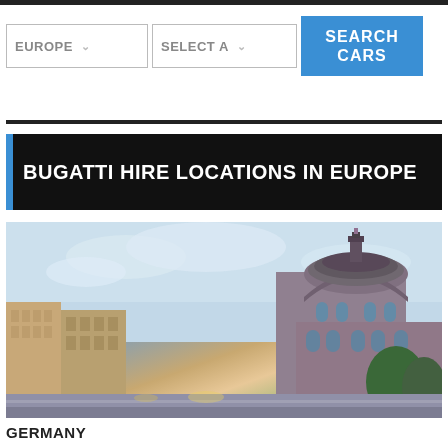[Figure (screenshot): Search interface with EUROPE dropdown, SELECT A (model) dropdown, and blue SEARCH CARS button]
BUGATTI HIRE LOCATIONS IN EUROPE
[Figure (photo): Cityscape of Berlin, Germany, featuring the Berlin Cathedral dome and surrounding buildings]
GERMANY